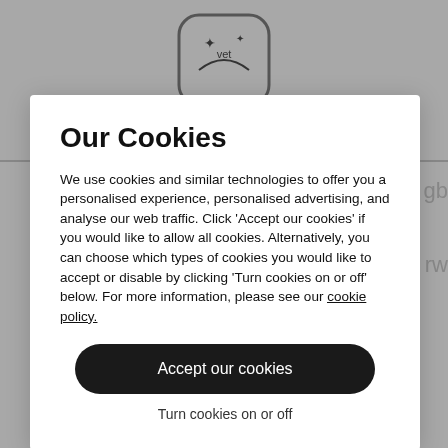[Figure (logo): App icon with stars and 'vet' text inside a rounded rectangle outline]
Our Cookies
We use cookies and similar technologies to offer you a personalised experience, personalised advertising, and analyse our web traffic. Click 'Accept our cookies' if you would like to allow all cookies. Alternatively, you can choose which types of cookies you would like to accept or disable by clicking 'Turn cookies on or off' below. For more information, please see our cookie policy.
Accept our cookies
Turn cookies on or off